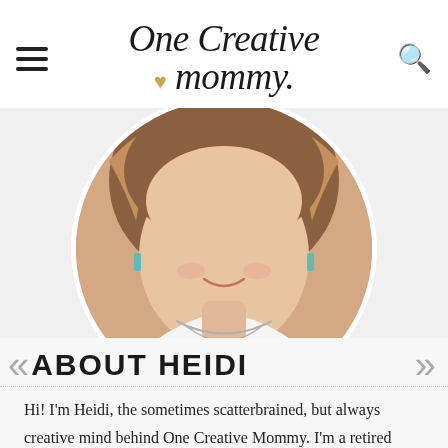One Creative Mommy
[Figure (photo): Circular cropped portrait photo of a woman with brown highlighted hair, turquoise earrings, and a silver necklace, smiling, wearing a white top, photographed from the chest up against a light background.]
ABOUT HEIDI
Hi! I'm Heidi, the sometimes scatterbrained, but always creative mind behind One Creative Mommy. I'm a retired teacher, wife, and mom of three beautiful teenage girls and one adorable fur baby. In my spare time, I love to share